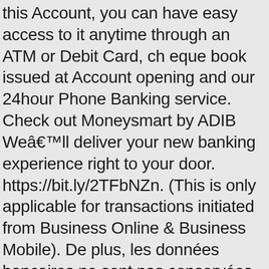this Account, you can have easy access to it anytime through an ATM or Debit Card, ch eque book issued at Account opening and our 24hour Phone Banking service. Check out Moneysmart by ADIB Weâ€™ll deliver your new banking experience right to your door. https://bit.ly/2TFbNZn. (This is only applicable for transactions initiated from Business Online & Business Mobile). De plus, les données bancaires ne sont pas conservées sur votre appareil et vous avez besoin de votre code personnel pour vous identifier et signer les transactions dans l'app. Weâ€™ll deliver your new banking experience right to your door. Close â€¢ Posted by 1 hour ago. Companies can fill in Annexure B, if they wish to set up account operating instructions like transaction amount restrictions, restrict transactions against specific account. I was so happy to open an account with ADIB, which was done through online. Nominated by the adib smart banking, adib phone banking services to your